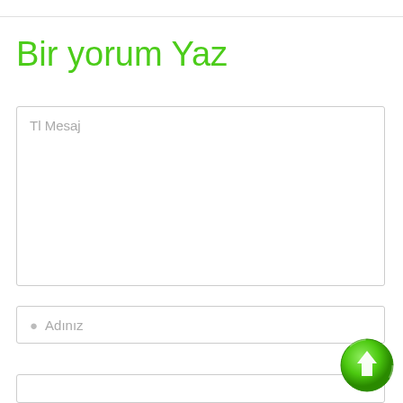Bir yorum Yaz
[Figure (screenshot): A textarea input field with placeholder text 'Tl Mesaj']
[Figure (screenshot): A text input field with person icon and placeholder text 'Adınız', with a green upload/arrow button overlapping bottom-right]
[Figure (screenshot): A partially visible input field at the bottom of the page]